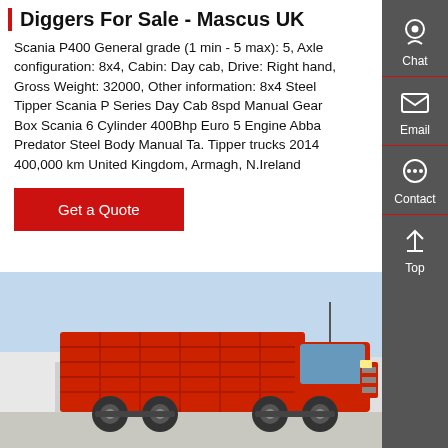Diggers For Sale - Mascus UK
Scania P400 General grade (1 min - 5 max): 5, Axle configuration: 8x4, Cabin: Day cab, Drive: Right hand, Gross Weight: 32000, Other information: 8x4 Steel Tipper Scania P Series Day Cab 8spd Manual Gear Box Scania 6 Cylinder 400Bhp Euro 5 Engine Abba Predator Steel Body Manual Ta. Tipper trucks 2014 400,000 km United Kingdom, Armagh, N.Ireland
[Figure (other): Red 'Get a Quote' button]
[Figure (photo): Red dump truck (tipper truck) parked in a yard with blue sky background]
[Figure (infographic): Right sidebar with Chat, Email, Contact, and Top navigation icons on dark grey background]